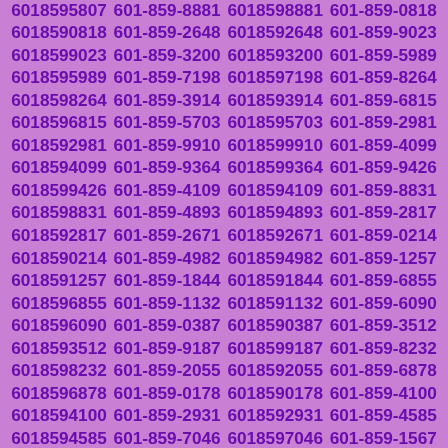6018595807 601-859-8881 6018598881 601-859-0818 6018590818 601-859-2648 6018592648 601-859-9023 6018599023 601-859-3200 6018593200 601-859-5989 6018595989 601-859-7198 6018597198 601-859-8264 6018598264 601-859-3914 6018593914 601-859-6815 6018596815 601-859-5703 6018595703 601-859-2981 6018592981 601-859-9910 6018599910 601-859-4099 6018594099 601-859-9364 6018599364 601-859-9426 6018599426 601-859-4109 6018594109 601-859-8831 6018598831 601-859-4893 6018594893 601-859-2817 6018592817 601-859-2671 6018592671 601-859-0214 6018590214 601-859-4982 6018594982 601-859-1257 6018591257 601-859-1844 6018591844 601-859-6855 6018596855 601-859-1132 6018591132 601-859-6090 6018596090 601-859-0387 6018590387 601-859-3512 6018593512 601-859-9187 6018599187 601-859-8232 6018598232 601-859-2055 6018592055 601-859-6878 6018596878 601-859-0178 6018590178 601-859-4100 6018594100 601-859-2931 6018592931 601-859-4585 6018594585 601-859-7046 6018597046 601-859-1567